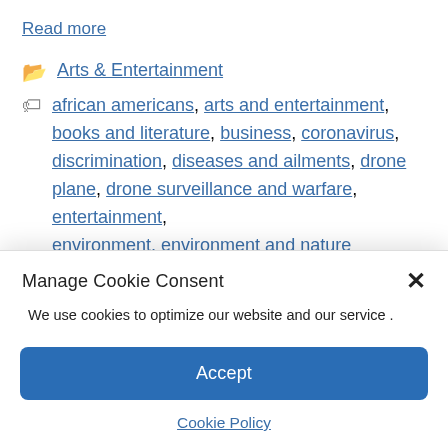Read more
Arts & Entertainment
african americans, arts and entertainment, books and literature, business, coronavirus, discrimination, diseases and ailments, drone plane, drone surveillance and warfare, entertainment, environment, environment and nature
Manage Cookie Consent
We use cookies to optimize our website and our service .
Accept
Cookie Policy